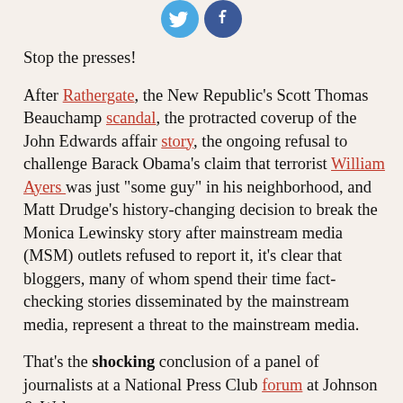[Figure (other): Two social media icon circles (Twitter blue and Facebook dark blue) partially visible at top of page]
Stop the presses!
After Rathergate, the New Republic's Scott Thomas Beauchamp scandal, the protracted coverup of the John Edwards affair story, the ongoing refusal to challenge Barack Obama's claim that terrorist William Ayers was just "some guy" in his neighborhood, and Matt Drudge's history-changing decision to break the Monica Lewinsky story after mainstream media (MSM) outlets refused to report it, it's clear that bloggers, many of whom spend their time fact-checking stories disseminated by the mainstream media, represent a threat to the mainstream media.
That's the shocking conclusion of a panel of journalists at a National Press Club forum at Johnson & Wales